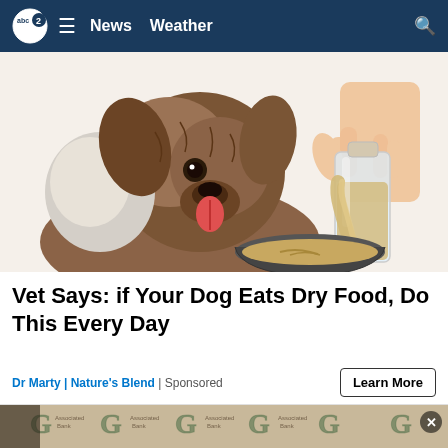abc2  ≡  News  Weather
[Figure (illustration): Illustration of a fluffy brown dog with tongue out, looking at a metal bowl while a hand pours liquid from a glass bottle into the bowl.]
Vet Says: if Your Dog Eats Dry Food, Do This Every Day
Dr Marty | Nature's Blend | Sponsored
[Figure (photo): Partial photo of a person in a suit in front of a Green Bay Packers branded backdrop with Associated Bank logos.]